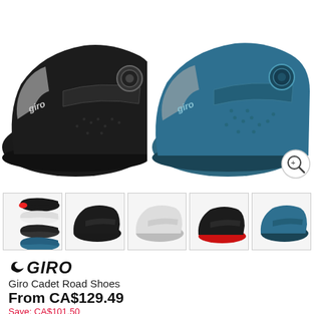[Figure (photo): Two Giro Cadet Road Shoes side by side: left shoe in black, right shoe in teal/dark blue, both showing the Boa dial closure and strap system. A zoom/magnify icon button appears in the bottom-right corner of the image.]
[Figure (photo): Row of 5 thumbnail images showing the Giro Cadet Road Shoes in different color variants: (1) multi-color grid with black, white, red, teal options; (2) black shoe single; (3) white/light gray shoe; (4) black shoe with red sole accent; (5) dark teal/blue shoe.]
[Figure (logo): Giro brand logo in black italic stylized text with wing emblem]
Giro Cadet Road Shoes
From CA$129.49
Save: CA$101.50